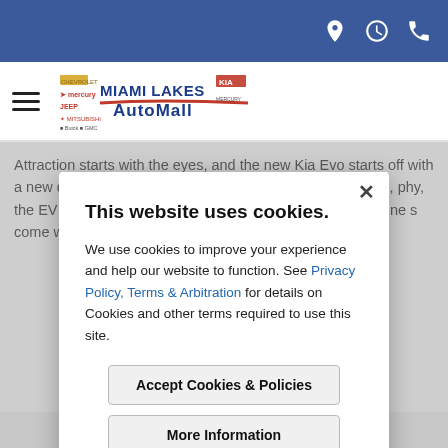Miami Lakes AutoMall — header bar with navigation icons
[Figure (logo): Miami Lakes AutoMall logo with Chevrolet, Jeep, Buick, GMC, Mercury, Mitsubishi, Kia brand marks]
Attraction starts with the eyes, and the new Kia Evo starts off with a new design from the minds in Seoul, Frankfurt and Irvine, ... the EV ... once a ... with its ... the front fa... grille, w... engine... come w... together... for choice..., 20 or 21-inc...
This website uses cookies.

We use cookies to improve your experience and help our website to function. See Privacy Policy, Terms & Arbitration for details on Cookies and other terms required to use this site.

[Accept Cookies & Policies] [More Information]

Privacy Policy